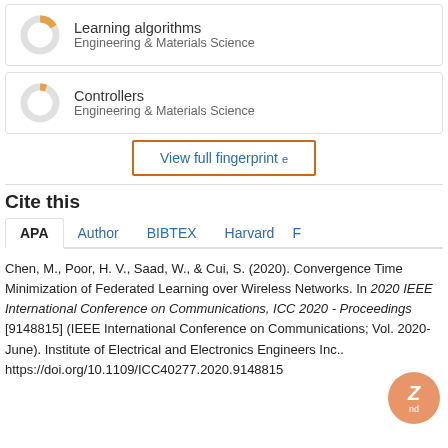[Figure (infographic): Donut chart icon with orange segment for 'Learning algorithms / Engineering & Materials Science' keyword fingerprint card]
Learning algorithms
Engineering & Materials Science
[Figure (infographic): Donut chart icon with small orange segment for 'Controllers / Engineering & Materials Science' keyword fingerprint card]
Controllers
Engineering & Materials Science
View full fingerprint
Cite this
APA | Author | BIBTEX | Harvard | F
Chen, M., Poor, H. V., Saad, W., & Cui, S. (2020). Convergence Time Minimization of Federated Learning over Wireless Networks. In 2020 IEEE International Conference on Communications, ICC 2020 - Proceedings [9148815] (IEEE International Conference on Communications; Vol. 2020-June). Institute of Electrical and Electronics Engineers Inc..
https://doi.org/10.1109/ICC40277.2020.9148815